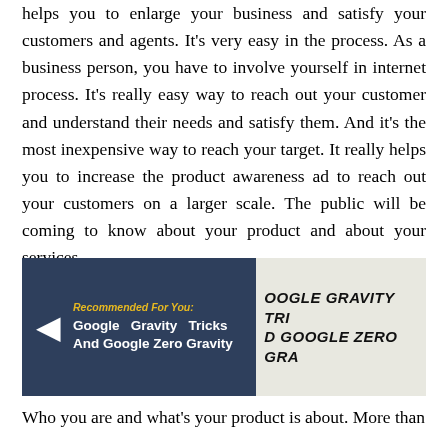helps you to enlarge your business and satisfy your customers and agents. It's very easy in the process. As a business person, you have to involve yourself in internet process. It's really easy way to reach out your customer and understand their needs and satisfy them. And it's the most inexpensive way to reach your target. It really helps you to increase the product awareness ad to reach out your customers on a larger scale. The public will be coming to know about your product and about your services.
[Figure (other): Recommended widget box with dark navy background showing 'Recommended For You: Google Gravity Tricks And Google Zero Gravity' with a white left arrow, alongside a partially visible book/image overlay showing the same text in bold italic uppercase.]
Who you are and what's your product is about. More than